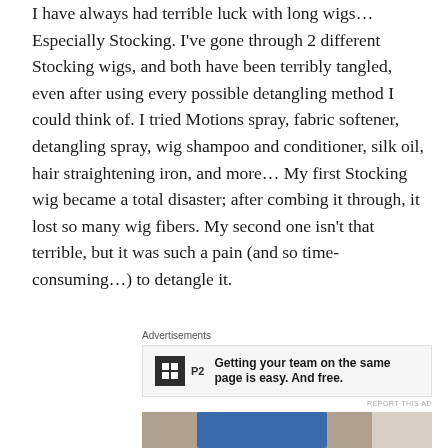I have always had terrible luck with long wigs... Especially Stocking. I've gone through 2 different Stocking wigs, and both have been terribly tangled, even after using every possible detangling method I could think of. I tried Motions spray, fabric softener, detangling spray, wig shampoo and conditioner, silk oil, hair straightening iron, and more... My first Stocking wig became a total disaster; after combing it through, it lost so many wig fibers. My second one isn't that terrible, but it was such a pain (and so time-consuming...) to detangle it.
Advertisements
[Figure (other): Advertisement banner with P2 logo and text: Getting your team on the same page is easy. And free.]
[Figure (photo): Partial photo showing a blue object against a light background, cropped at bottom of page.]